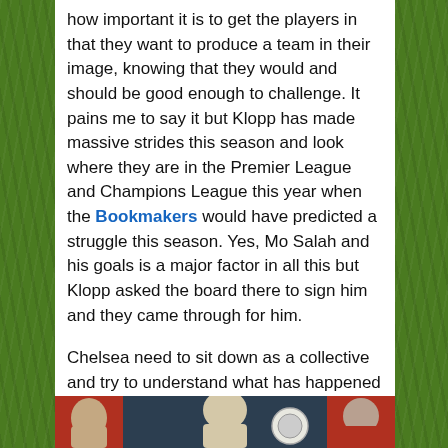how important it is to get the players in that they want to produce a team in their image, knowing that they would and should be good enough to challenge. It pains me to say it but Klopp has made massive strides this season and look where they are in the Premier League and Champions League this year when the Bookmakers would have predicted a struggle this season. Yes, Mo Salah and his goals is a major factor in all this but Klopp asked the board there to sign him and they came through for him.
Chelsea need to sit down as a collective and try to understand what has happened because for this to happen for two out of the last three seasons is a real concern and should be in the boardroom.
[Figure (photo): Bottom strip showing partial image of people, likely football figures, with red and dark background sections]